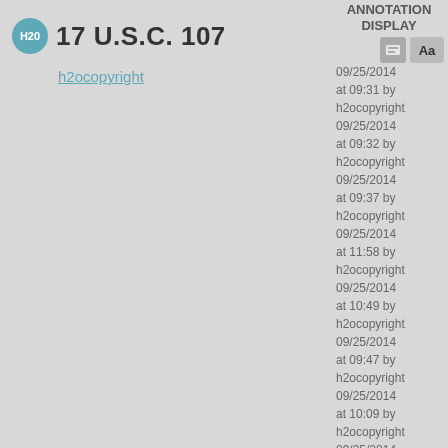17 U.S.C. 107
h2ocopyright
ANNOTATION DISPLAY
09/25/2014 at 09:31 by h2ocopyright
09/25/2014 at 09:32 by h2ocopyright
09/25/2014 at 09:37 by h2ocopyright
09/25/2014 at 11:58 by h2ocopyright
09/25/2014 at 10:49 by h2ocopyright
09/25/2014 at 09:47 by h2ocopyright
09/25/2014 at 10:09 by h2ocopyright
09/25/2014